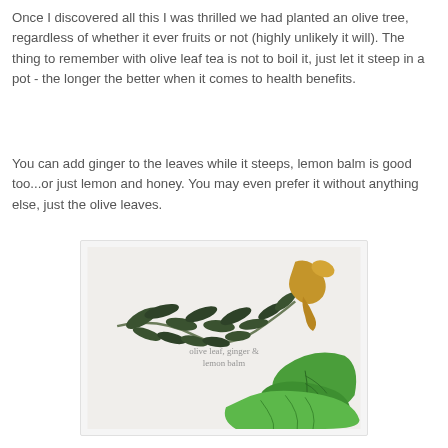Once I discovered all this I was thrilled we had planted an olive tree, regardless of whether it ever fruits or not (highly unlikely it will). The thing to remember with olive leaf tea is not to boil it, just let it steep in a pot - the longer the better when it comes to health benefits.
You can add ginger to the leaves while it steeps, lemon balm is good too...or just lemon and honey. You may even prefer it without anything else, just the olive leaves.
[Figure (photo): A flat-lay photo on a white background showing an olive branch with dark green leaves, a piece of fresh ginger root, and bright green lemon balm leaves. Text overlay reads 'olive leaf, ginger & lemon balm'.]